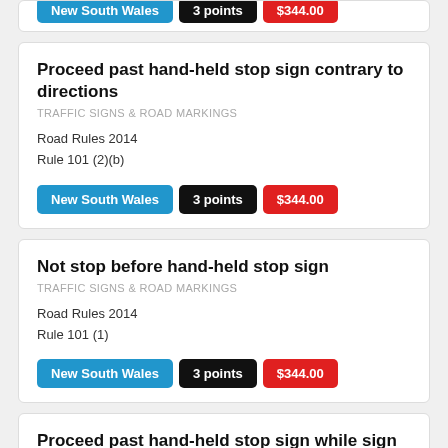[Figure (other): Partial top card showing colored badges: blue (New South Wales), black (points), red (dollar amount) — cropped at top of page]
Proceed past hand-held stop sign contrary to directions
TRAFFIC SIGNS & ROAD MARKINGS
Road Rules 2014
Rule 101 (2)(b)
New South Wales  3 points  $344.00
Not stop before hand-held stop sign
TRAFFIC SIGNS & ROAD MARKINGS
Road Rules 2014
Rule 101 (1)
New South Wales  3 points  $344.00
Proceed past hand-held stop sign while sign shown